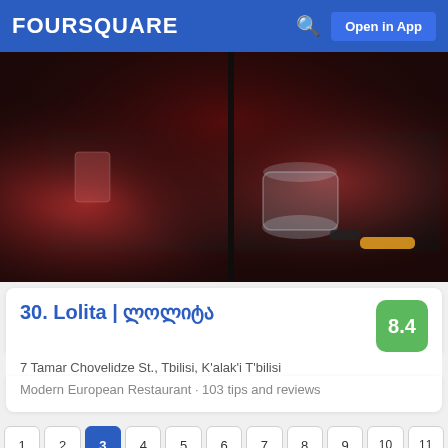FOURSQUARE  Open in App
[Figure (photo): Bar scene photo with glass jar, bottles, and red lighting on a dark textured mat surface]
30. Lolita | ლოლიტა   8.4
7 Tamar Chovelidze St., Tbilisi, K'alak'i T'bilisi
Modern European Restaurant · 103 tips and reviews
1 2 3 4 5 6 7 8 9 10 11 12 13 14 15 16 17 18 19
Foursquare © 2022   Desktop  Login  English